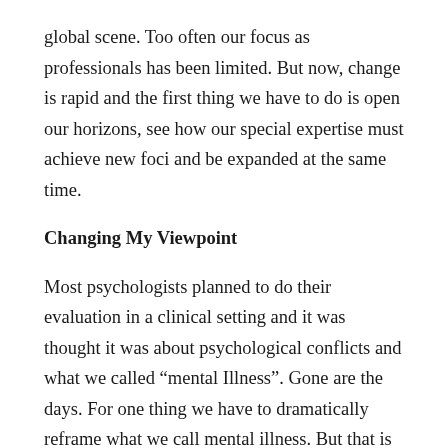global scene. Too often our focus as professionals has been limited. But now, change is rapid and the first thing we have to do is open our horizons, see how our special expertise must achieve new foci and be expanded at the same time.
Changing My Viewpoint
Most psychologists planned to do their evaluation in a clinical setting and it was thought it was about psychological conflicts and what we called “mental Illness”. Gone are the days. For one thing we have to dramatically reframe what we call mental illness. But that is another story. Let me stay with the jobs issue.